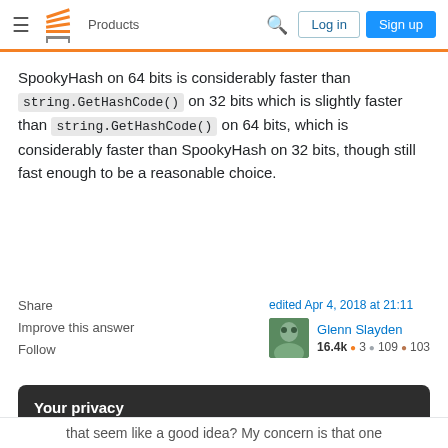Stack Overflow navigation — hamburger menu, logo, Products, search, Log in, Sign up
SpookyHash on 64 bits is considerably faster than string.GetHashCode() on 32 bits which is slightly faster than string.GetHashCode() on 64 bits, which is considerably faster than SpookyHash on 32 bits, though still fast enough to be a reasonable choice.
Share  Improve this answer  Follow
edited Apr 4, 2018 at 21:11  Glenn Slayden  16.4k  3  109  103
Your privacy
By clicking "Accept all cookies", you agree Stack Exchange can store cookies on your device and disclose information in accordance with our Cookie Policy.
Accept all cookies    Customize settings
that seem like a good idea? My concern is that one